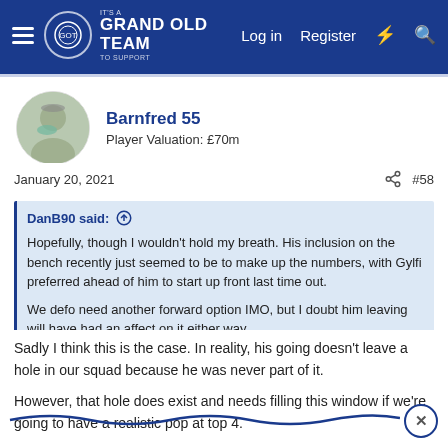It's a GRAND OLD TEAM to support | Log in | Register
Barnfred 55
Player Valuation: £70m
January 20, 2021  #58
DanB90 said: ↑

Hopefully, though I wouldn't hold my breath. His inclusion on the bench recently just seemed to be to make up the numbers, with Gylfi preferred ahead of him to start up front last time out.

We defo need another forward option IMO, but I doubt him leaving will have had an affect on it either way.
Sadly I think this is the case. In reality, his going doesn't leave a hole in our squad because he was never part of it.

However, that hole does exist and needs filling this window if we're going to have a realistic pop at top 4.